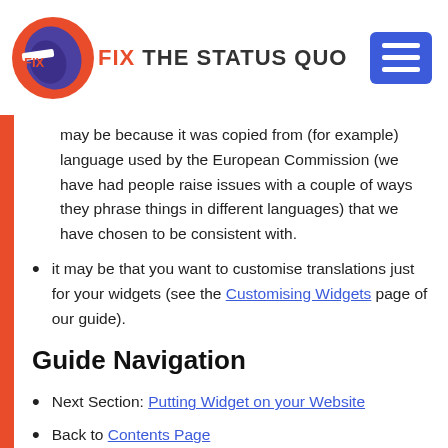FIX THE STATUS QUO
may be because it was copied from (for example) language used by the European Commission (we have had people raise issues with a couple of ways they phrase things in different languages) that we have chosen to be consistent with.
it may be that you want to customise translations just for your widgets (see the Customising Widgets page of our guide).
Guide Navigation
Next Section: Putting Widget on your Website
Back to Contents Page